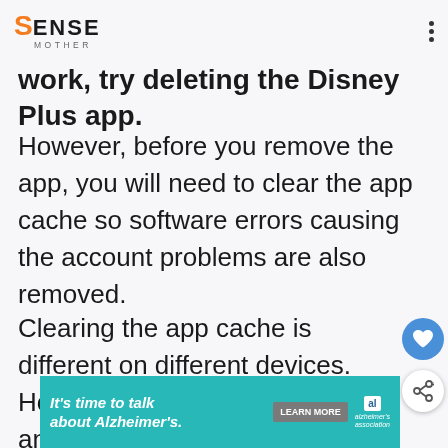Sense Mother
work, try deleting the Disney Plus app.
However, before you remove the app, you will need to clear the app cache so software errors causing the account problems are also removed.
Clearing the app cache is different on different devices. However, the steps are similar and straightforward.
[Figure (other): Advertisement banner: It's time to talk about Alzheimer's. with Learn More button and Alzheimer's Association logo]